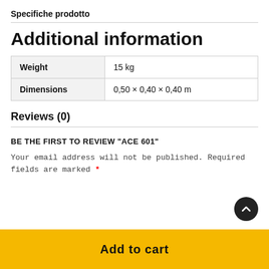Specifiche prodotto
Additional information
|  |  |
| --- | --- |
| Weight | 15 kg |
| Dimensions | 0,50 × 0,40 × 0,40 m |
Reviews (0)
BE THE FIRST TO REVIEW “ACE 601”
Your email address will not be published. Required fields are marked *
Add to cart